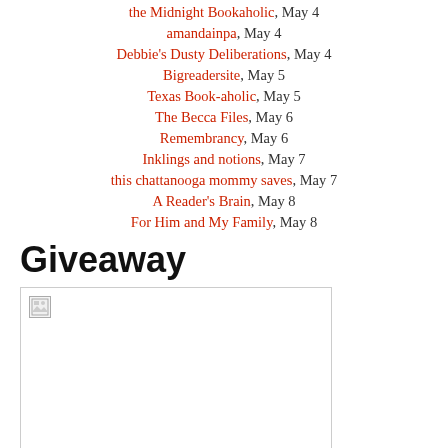the Midnight Bookaholic, May 4
amandainpa, May 4
Debbie's Dusty Deliberations, May 4
Bigreadersite, May 5
Texas Book-aholic, May 5
The Becca Files, May 6
Remembrancy, May 6
Inklings and notions, May 7
this chattanooga mommy saves, May 7
A Reader's Brain, May 8
For Him and My Family, May 8
Giveaway
[Figure (photo): Giveaway image placeholder (broken image icon shown)]